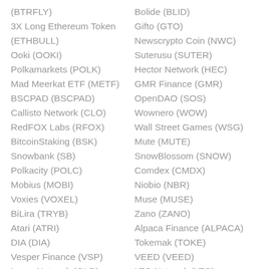(BTRFLY)
3X Long Ethereum Token (ETHBULL)
Ooki (OOKI)
Polkamarkets (POLK)
Mad Meerkat ETF (METF)
BSCPAD (BSCPAD)
Callisto Network (CLO)
RedFOX Labs (RFOX)
BitcoinStaking (BSK)
Snowbank (SB)
Polkacity (POLC)
Mobius (MOBI)
Voxies (VOXEL)
BiLira (TRYB)
Atari (ATRI)
DIA (DIA)
Vesper Finance (VSP)
Loom Network (OLD)
Bolide (BLID)
Gifto (GTO)
Newscrypto Coin (NWC)
Suterusu (SUTER)
Hector Network (HEC)
GMR Finance (GMR)
OpenDAO (SOS)
Wownero (WOW)
Wall Street Games (WSG)
Mute (MUTE)
SnowBlossom (SNOW)
Comdex (CMDX)
Niobio (NBR)
Muse (MUSE)
Zano (ZANO)
Alpaca Finance (ALPACA)
Tokemak (TOKE)
VEED (VEED)
LTO Network (LTO)